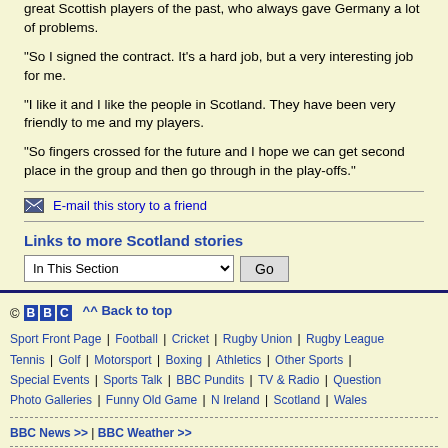great Scottish players of the past, who always gave Germany a lot of problems.
"So I signed the contract. It's a hard job, but a very interesting job for me.
"I like it and I like the people in Scotland. They have been very friendly to me and my players.
"So fingers crossed for the future and I hope we can get second place in the group and then go through in the play-offs."
E-mail this story to a friend
Links to more Scotland stories
In This Section
© BBC | ^^ Back to top | Sport Front Page | Football | Cricket | Rugby Union | Rugby League | Tennis | Golf | Motorsport | Boxing | Athletics | Other Sports | Special Events | Sports Talk | BBC Pundits | TV & Radio | Question of Sport | Photo Galleries | Funny Old Game | N Ireland | Scotland | Wales | BBC News >> | BBC Weather >>